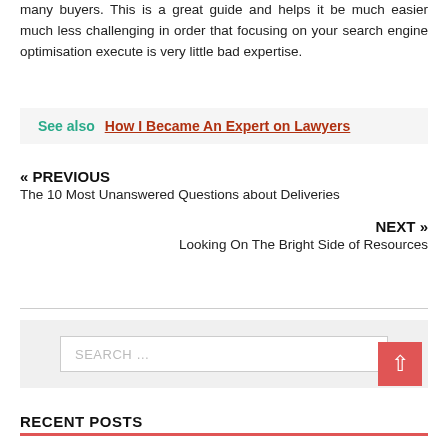many buyers. This is a great guide and helps it be much easier much less challenging in order that focusing on your search engine optimisation execute is very little bad expertise.
See also  How I Became An Expert on Lawyers
« PREVIOUS
The 10 Most Unanswered Questions about Deliveries
NEXT »
Looking On The Bright Side of Resources
SEARCH …
RECENT POSTS